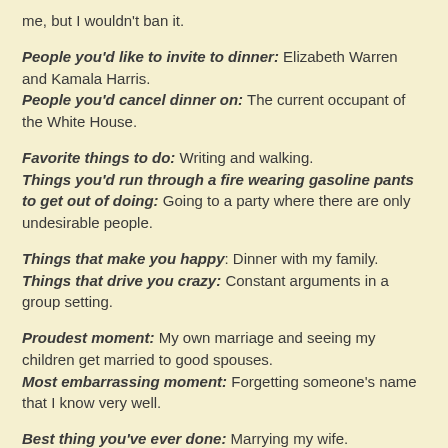me, but I wouldn't ban it.
People you'd like to invite to dinner: Elizabeth Warren and Kamala Harris.
People you'd cancel dinner on: The current occupant of the White House.
Favorite things to do: Writing and walking.
Things you'd run through a fire wearing gasoline pants to get out of doing: Going to a party where there are only undesirable people.
Things that make you happy: Dinner with my family.
Things that drive you crazy: Constant arguments in a group setting.
Proudest moment: My own marriage and seeing my children get married to good spouses.
Most embarrassing moment: Forgetting someone's name that I know very well.
Best thing you've ever done: Marrying my wife.